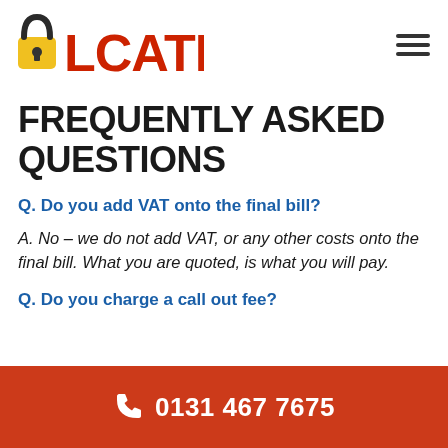ALCATRAZ
FREQUENTLY ASKED QUESTIONS
Q. Do you add VAT onto the final bill?
A. No – we do not add VAT, or any other costs onto the final bill. What you are quoted, is what you will pay.
Q. Do you charge a call out fee?
0131 467 7675